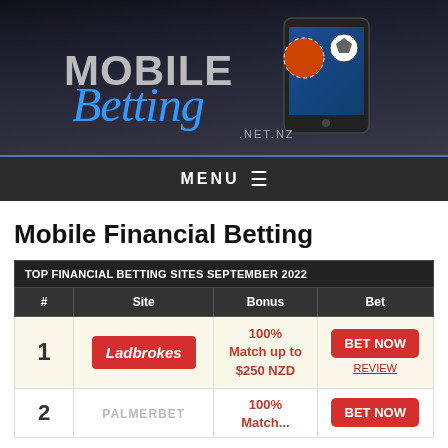[Figure (logo): Mobile Betting .NET.NZ logo with smartphone and sports balls on dark background]
MENU ☰
Mobile Financial Betting
| TOP FINANCIAL BETTING SITES SEPTEMBER 2022 |
| --- |
| # | Site | Bonus | Bet |
| 1 | Ladbrokes | 100% Match up to $250 NZD | BET NOW / REVIEW |
| 2 | PALMERBET | 100% Match... | BET NOW |